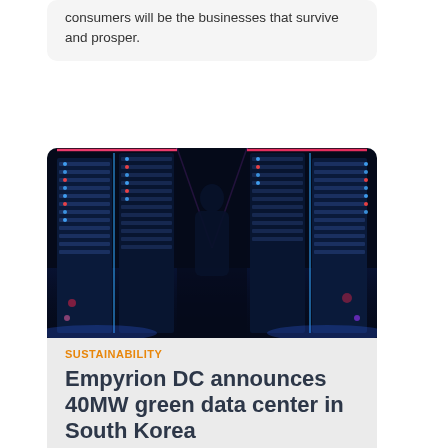consumers will be the businesses that survive and prosper.
[Figure (photo): Data center server racks illuminated with blue, red, and pink neon lights in a dark futuristic setting]
SUSTAINABILITY
Empyrion DC announces 40MW green data center in South Korea
Empyrion DC has announced it is developing a 40MW green data center in Gangnam, Seoul, South Korea (GDC).